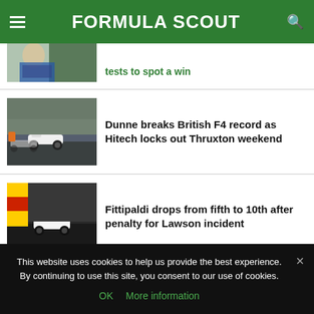FORMULA SCOUT
[Figure (photo): Partially visible article with racing driver photo and green-tinted headline (cropped at top)]
tests to spot a win
[Figure (photo): Photo of single-seater Formula 4 race cars on track at Thruxton]
Dunne breaks British F4 record as Hitech locks out Thruxton weekend
[Figure (photo): Photo of a Formula 4 race car on track with red and yellow barrier in background]
Fittipaldi drops from fifth to 10th after penalty for Lawson incident
This website uses cookies to help us provide the best experience. By continuing to use this site, you consent to our use of cookies.
OK  More information